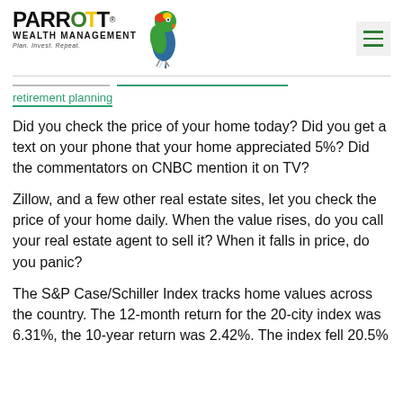PARROTT WEALTH MANAGEMENT — Plan. Invest. Repeat.
retirement planning
Did you check the price of your home today? Did you get a text on your phone that your home appreciated 5%? Did the commentators on CNBC mention it on TV?
Zillow, and a few other real estate sites, let you check the price of your home daily. When the value rises, do you call your real estate agent to sell it? When it falls in price, do you panic?
The S&P Case/Schiller Index tracks home values across the country. The 12-month return for the 20-city index was 6.31%, the 10-year return was 2.42%. The index fell 20.5% from May 2006 to March 2012.[1] Did you sell when...